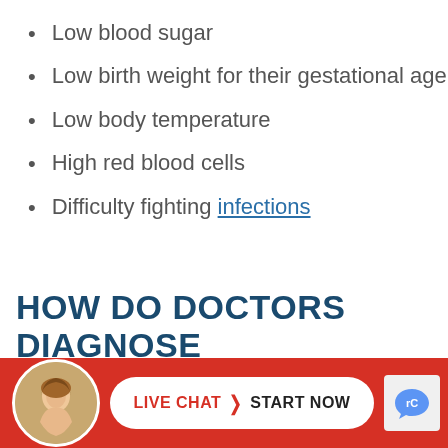Low blood sugar
Low birth weight for their gestational age
Low body temperature
High red blood cells
Difficulty fighting infections
HOW DO DOCTORS DIAGNOSE INTRAUTERINE GROWTH RESTRICTIONS
[Figure (photo): Live chat bar with woman avatar, red background, white pill-shaped button with LIVE CHAT > START NOW text]